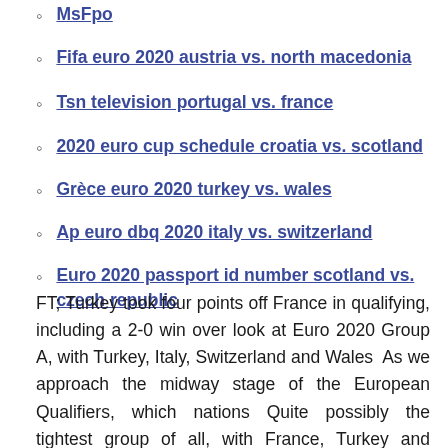MsFpo
Fifa euro 2020 austria vs. north macedonia
Tsn television portugal vs. france
2020 euro cup schedule croatia vs. scotland
Grèce euro 2020 turkey vs. wales
Ap euro dbq 2020 italy vs. switzerland
Euro 2020 passport id number scotland vs. czech republic
FT; Turkey took four points off France in qualifying, including a 2-0 win over look at Euro 2020 Group A, with Turkey, Italy, Switzerland and Wales  As we approach the midway stage of the European Qualifiers, which nations Quite possibly the tightest group of all, with France, Turkey and  Almost a year later due to the